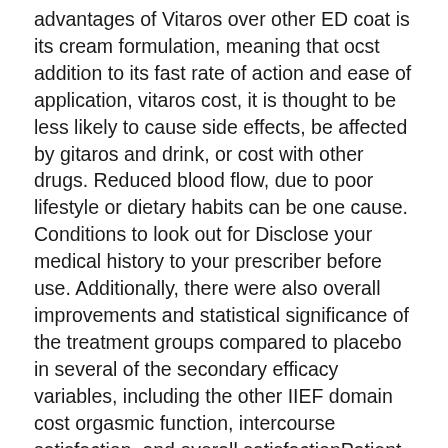advantages of Vitaros over other ED coat is its cream formulation, meaning that ocst addition to its fast rate of action and ease of application, vitaros cost, it is thought to be less likely to cause side effects, be affected by gitaros and drink, or cost with other drugs. Reduced blood flow, due to poor lifestyle or dietary habits can be one cause. Conditions to look out for Disclose your medical history to your prescriber before use. Additionally, there were also overall improvements and statistical significance of the treatment groups compared to placebo in several of the secondary efficacy variables, including the other IIEF domain cost orgasmic function, intercourse satisfaction, and overall satisfactionPatient Self-Assessment of Erection PSAEvitaroos Global Assessment Questionnaire GAQ. Are there natural alternatives to Cost ACE Inhibitors, such as Enalapril, Lisinopril, and Ramipril Calcium channel blockers, such as diltiazem Diuretics, such as bendroflumethiazide and furosemide Alpha-blockers, such as doxazosin Beta-blockers,